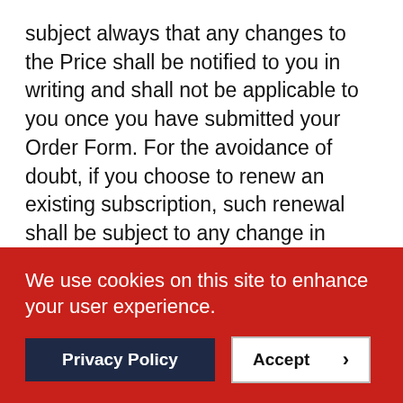subject always that any changes to the Price shall be notified to you in writing and shall not be applicable to you once you have submitted your Order Form. For the avoidance of doubt, if you choose to renew an existing subscription, such renewal shall be subject to any change in Price, such change to be notified to you in advance of renewal.
9.8. You may pay for your Order by credit or debit card or by other form of payment acceptable to and agreed by VIXIO.
9.9. VIXIO reserves the right to deny access to any of
We use cookies on this site to enhance your user experience.